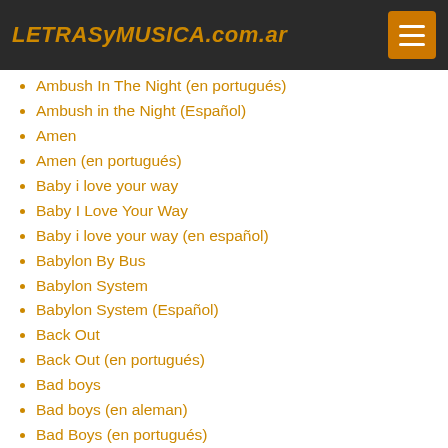LETRASyMUSICA.com.ar
Ambush In The Night (en portugués)
Ambush in the Night (Español)
Amen
Amen (en portugués)
Baby i love your way
Baby I Love Your Way
Baby i love your way (en español)
Babylon By Bus
Babylon System
Babylon System (Español)
Back Out
Back Out (en portugués)
Bad boys
Bad boys (en aleman)
Bad Boys (en portugués)
Bad Boys (español)
Bad Card
Bad Card (en portugués)
Bend Down Low
Bend Down Low (en portugués)